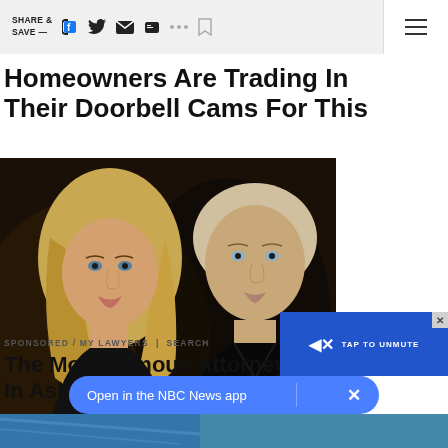SHARE & SAVE —
Homeowners Are Trading In Their Doorbell Cams For This
[Figure (photo): A young blonde woman and a tall man with short light hair, both looking at the camera against a dark background.]
SPONSORED / MY LAWYERS | SEARCH
The Most Famous Attorneys In Ashburn - See the List
TAP TO UNMUTE
Open in the NBC News app